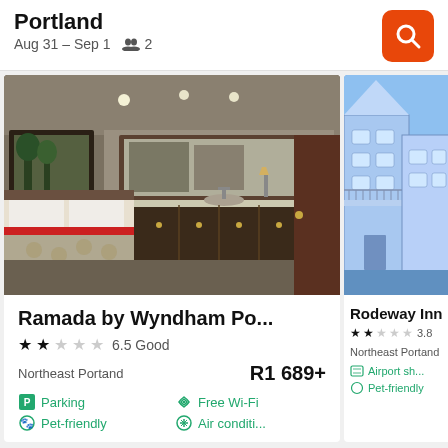Portland
Aug 31 – Sep 1   2
[Figure (photo): Hotel room photo showing a bed with dark wood headboard, white pillows, red accent, and vanity/mirror area]
[Figure (illustration): Blue illustrated building/apartment icon]
Ramada by Wyndham Po...
★★★★★ 6.5 Good
Northeast Portand    R1 689+
Parking   Free Wi-Fi
Pet-friendly   Air conditi...
Rodeway Inn
★★★★★ 3.8
Northeast Portand
Airport sh...
Pet-friendly